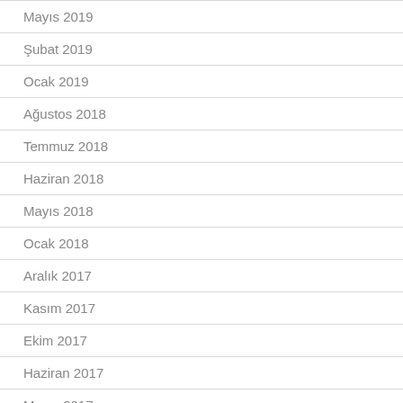Mayıs 2019
Şubat 2019
Ocak 2019
Ağustos 2018
Temmuz 2018
Haziran 2018
Mayıs 2018
Ocak 2018
Aralık 2017
Kasım 2017
Ekim 2017
Haziran 2017
Mayıs 2017
Nisan 2017